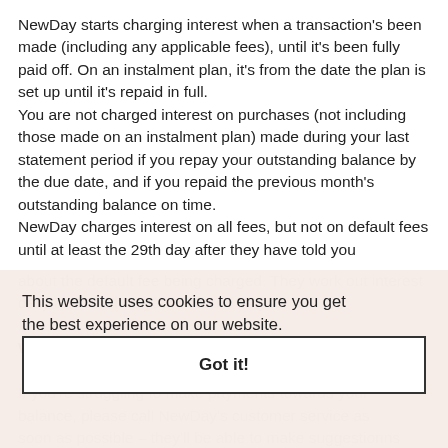NewDay starts charging interest when a transaction's been made (including any applicable fees), until it's been fully paid off. On an instalment plan, it's from the date the plan is set up until it's repaid in full. You are not charged interest on purchases (not including those made on an instalment plan) made during your last statement period if you repay your outstanding balance by the due date, and if you repaid the previous month's outstanding balance on time. NewDay charges interest on all fees, but not on default fees until at least the 29th day after they have told you about the default fee being charged. They work out interest daily and add it to your account on your monthly statement date.
What should I do if I'm having financial difficulties?
If you're struggling to make payments towards your balance, please call NewDay's customer service as soon as possible – they'll be able to make suggestions on how to help. Their number is 03308380170.
This website uses cookies to ensure you get the best experience on our website.
Learn More
Got it!